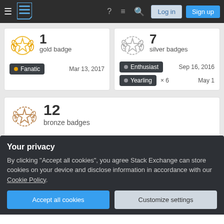Stack Exchange navigation bar with Log in and Sign up buttons
1 gold badge
Fanatic   Mar 13, 2017
7 silver badges
Enthusiast   Sep 16, 2016
Yearling × 6   May 1
12 bronze badges
Explainer   Nov 16, 2016
Your privacy
By clicking "Accept all cookies", you agree Stack Exchange can store cookies on your device and disclose information in accordance with our Cookie Policy.
Accept all cookies
Customize settings